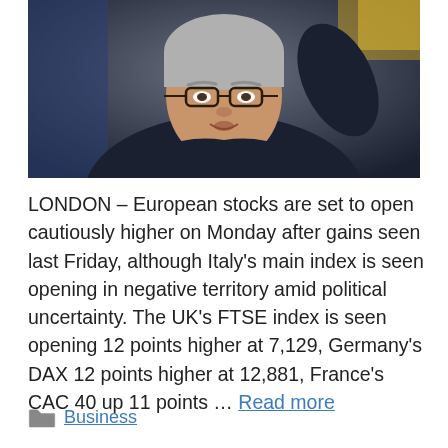[Figure (photo): Close-up photo of an older man with grey hair and glasses wearing a dark suit, speaking at what appears to be a press conference with blue curtains and a flag in the background.]
LONDON – European stocks are set to open cautiously higher on Monday after gains seen last Friday, although Italy's main index is seen opening in negative territory amid political uncertainty. The UK's FTSE index is seen opening 12 points higher at 7,129, Germany's DAX 12 points higher at 12,881, France's CAC 40 up 11 points … Read more
Business